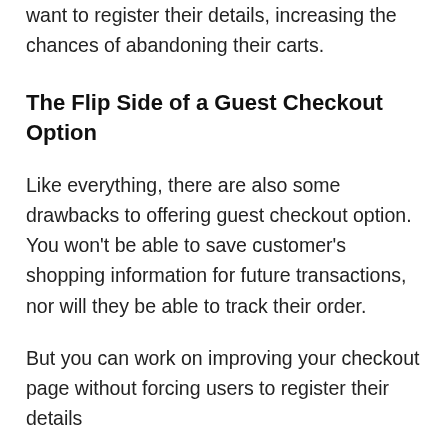want to register their details, increasing the chances of abandoning their carts.
The Flip Side of a Guest Checkout Option
Like everything, there are also some drawbacks to offering guest checkout option. You won't be able to save customer's shopping information for future transactions, nor will they be able to track their order.
But you can work on improving your checkout page without forcing users to register their details